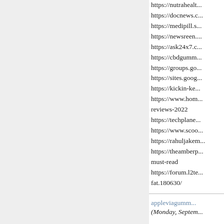https://nutrahealth...
https://docnews.c...
https://medipill.s...
https://newsreen....
https://ask24x7.c...
https://cbdgumm...
https://groups.go...
https://sites.goog...
https://kickin-ke...
https://www.hom...
reviews-2022
https://techplane...
https://www.scoo...
https://rahuljakem...
https://theamberp...
must-read
https://forum.l2te...
fat.180630/
appleviagumm... (Monday, Septem...
Via Keto Apple G... handicap fat as o...